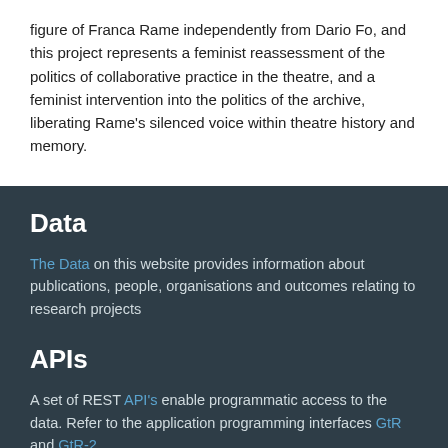figure of Franca Rame independently from Dario Fo, and this project represents a feminist reassessment of the politics of collaborative practice in the theatre, and a feminist intervention into the politics of the archive, liberating Rame's silenced voice within theatre history and memory.
Data
The Data on this website provides information about publications, people, organisations and outcomes relating to research projects
APIs
A set of REST API's enable programmatic access to the data. Refer to the application programming interfaces GtR and GtR-2